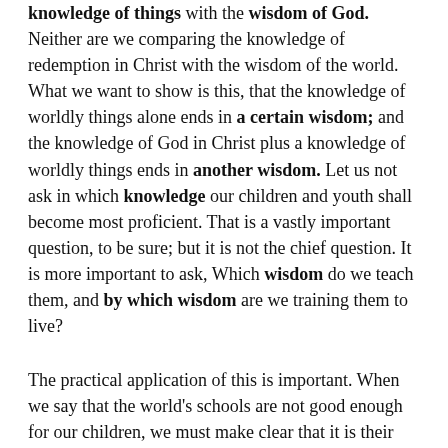knowledge of things with the wisdom of God. Neither are we comparing the knowledge of redemption in Christ with the wisdom of the world. What we want to show is this, that the knowledge of worldly things alone ends in a certain wisdom; and the knowledge of God in Christ plus a knowledge of worldly things ends in another wisdom. Let us not ask in which knowledge our children and youth shall become most proficient. That is a vastly important question, to be sure; but it is not the chief question. It is more important to ask, Which wisdom do we teach them, and by which wisdom are we training them to live?
The practical application of this is important. When we say that the world's schools are not good enough for our children, we must make clear that it is their worldly wisdom we are talking about, not their ability to teach the lesson materials. When we say that our schools are the better, it must be clear that they are better because of the eternal wisdom instilled by them. The competition between the world's schools and ours in the ability to impart